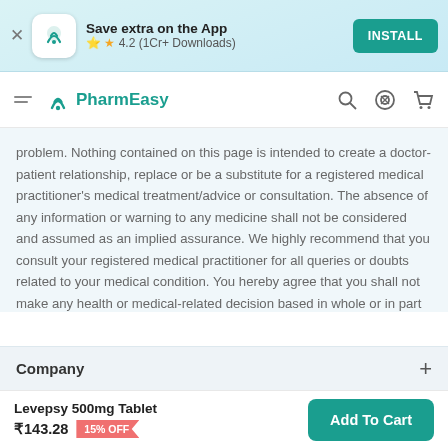Save extra on the App — 4.2 (1Cr+ Downloads) INSTALL
PharmEasy — navigation bar with search, offers, and cart icons
problem. Nothing contained on this page is intended to create a doctor-patient relationship, replace or be a substitute for a registered medical practitioner's medical treatment/advice or consultation. The absence of any information or warning to any medicine shall not be considered and assumed as an implied assurance. We highly recommend that you consult your registered medical practitioner for all queries or doubts related to your medical condition. You hereby agree that you shall not make any health or medical-related decision based in whole or in part on anything contained in the Site. Please click here for detailed T&C.
Company +
Browse offers and get FLAT 15% OFF
Levepsy 500mg Tablet ₹143.28  15% OFF  Add To Cart